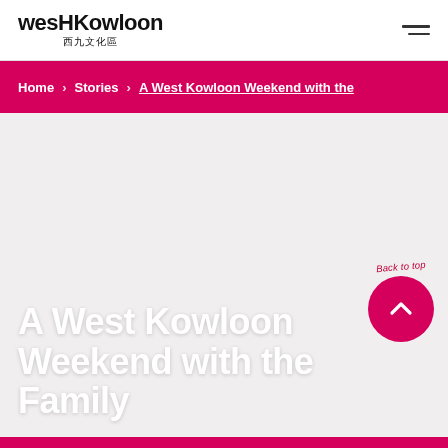westKowloon 西九文化區
Home > Stories > A West Kowloon Weekend with the
[Figure (other): Back to top button — a crimson circular button with an upward chevron arrow, labeled 'Back to top' above it]
A West Kowloon Weekend with the Family